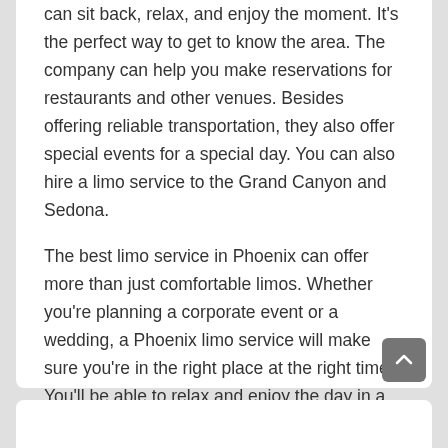can sit back, relax, and enjoy the moment. It's the perfect way to get to know the area. The company can help you make reservations for restaurants and other venues. Besides offering reliable transportation, they also offer special events for a special day. You can also hire a limo service to the Grand Canyon and Sedona.
The best limo service in Phoenix can offer more than just comfortable limos. Whether you're planning a corporate event or a wedding, a Phoenix limo service will make sure you're in the right place at the right time. You'll be able to relax and enjoy the day in a luxurious, air-conditioned limo, while your chauffeur will take care of all the details.